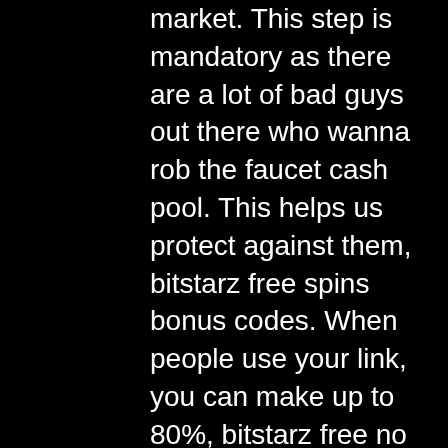market. This step is mandatory as there are a lot of bad guys out there who wanna rob the faucet cash pool. This helps us protect against them, bitstarz free spins bonus codes. When people use your link, you can make up to 80%, bitstarz free no deposit code. In general, the commission run between 40% to 80%, according to their website. Bu yontemi uygulayabilmek icin oncelikle kisilerin Faucet yani musluk sitesi olusturmalar? ya da haz?r olarak kurulan bir siteye uye olmalar? gerekmektedir. KYC Politikas AML Politikas? Kullan?c? Sozlesmesi Gizlilik Politikas?., bitstarz free bonus code. Now I'll explain free Way to earn cryptocurrencies without having to invest a single cent, bitstarz free spin codes. List of Coinpot Faucets 2021 To Win Free Cryptocurrency: Top Coinpot Faucets List. Bitcoin faucet bot is an algorithm that repeats user's action round-the-clock. It works on a computer or remote servers and